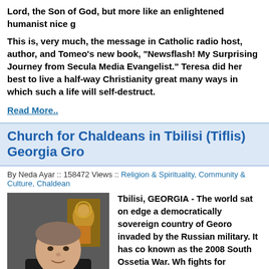Lord, the Son of God, but more like an enlightened humanist nice g...
This is, very much, the message in Catholic radio host, author, and Tomeo's new book, "Newsflash! My Surprising Journey from Secula... Media Evangelist." Teresa did her best to live a half-way Christianity great many ways in which such a life will self-destruct.
Read More..
Church for Chaldeans in Tbilisi (Tiflis) Georgia Gro...
By Neda Ayar :: 158472 Views :: Religion & Spirituality, Community & Culture, Chaldean...
[Figure (photo): Photo of a man in black clerical clothing with a cross necklace, standing in front of a religious icon painting.]
Tbilisi, GEORGIA - The world sat on edge a... democratically sovereign country of Georo... invaded by the Russian military. It has co... known as the 2008 South Ossetia War. Wh... fights for independence, the people of Gee... their faith for solace and prayer of peace. church begins to grow and offer Georgian... well as non-Chaldeans comfort
Tbilisi is the capital and the largest city of of Georgia, lying on the banks of the Kura... is the size of Michigan and with a little mo...